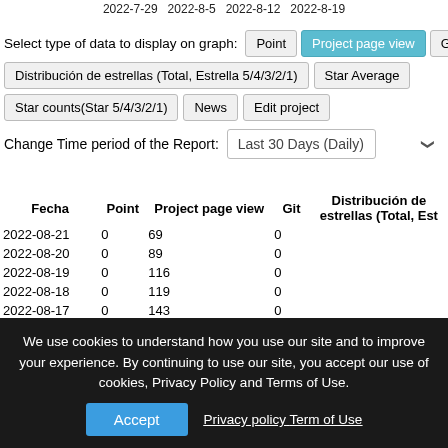2022-7-29  2022-8-5  2022-8-12  2022-8-19
Select type of data to display on graph:
Point | Project page view | Git
Distribución de estrellas (Total, Estrella 5/4/3/2/1) | Star Average
Star counts(Star 5/4/3/2/1) | News | Edit project
Change Time period of the Report: Last 30 Days (Daily)
| Fecha | Point | Project page view | Git | Distribución de estrellas (Total, Est… |
| --- | --- | --- | --- | --- |
| 2022-08-21 | 0 | 69 | 0 |  |
| 2022-08-20 | 0 | 89 | 0 |  |
| 2022-08-19 | 0 | 116 | 0 |  |
| 2022-08-18 | 0 | 119 | 0 |  |
| 2022-08-17 | 0 | 143 | 0 |  |
| 2022-08-16 | 0 | 127 | 0 |  |
| 2022-08-15 | 0 |  | 0 |  |
| 2022-08-14 | 0 |  | 0 |  |
| 2022-08-13 | 0 |  | 0 |  |
| 2022-08-12 | 0 | 140 | 0 |  |
We use cookies to understand how you use our site and to improve your experience. By continuing to use our site, you accept our use of cookies, Privacy Policy and Terms of Use.
Accept  Privacy policy  Term of Use